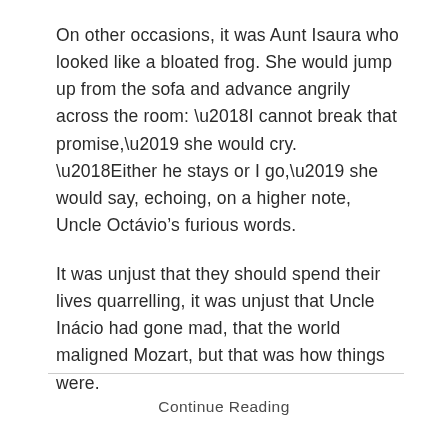On other occasions, it was Aunt Isaura who looked like a bloated frog. She would jump up from the sofa and advance angrily across the room: ‘I cannot break that promise,’ she would cry. ‘Either he stays or I go,’ she would say, echoing, on a higher note, Uncle Octávio’s furious words.
It was unjust that they should spend their lives quarrelling, it was unjust that Uncle Inácio had gone mad, that the world maligned Mozart, but that was how things were.
Continue Reading